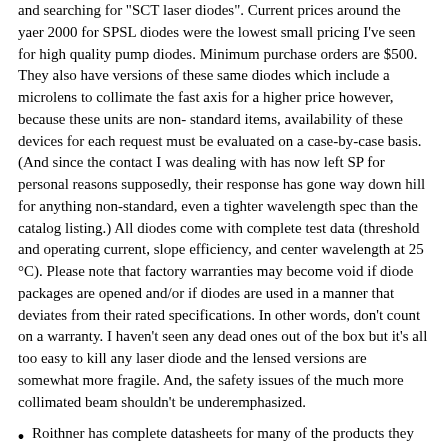and searching for "SCT laser diodes". Current prices around the yaer 2000 for SPSL diodes were the lowest small pricing I've seen for high quality pump diodes. Minimum purchase orders are $500. They also have versions of these same diodes which include a microlens to collimate the fast axis for a higher price however, because these units are non-standard items, availability of these devices for each request must be evaluated on a case-by-case basis. (And since the contact I was dealing with has now left SP for personal reasons supposedly, their response has gone way down hill for anything non-standard, even a tighter wavelength spec than the catalog listing.) All diodes come with complete test data (threshold and operating current, slope efficiency, and center wavelength at 25 °C). Please note that factory warranties may become void if diode packages are opened and/or if diodes are used in a manner that deviates from their rated specifications. In other words, don't count on a warranty. I haven't seen any dead ones out of the box but it's all too easy to kill any laser diode and the lensed versions are somewhat more fragile. And, the safety issues of the much more collimated beam shouldn't be underemphasized.
Roithner has complete datasheets for many of the products they sell including high power laser diodes (see: Roithner Infra-Red Laser Diodes Page). Some are from unidentified